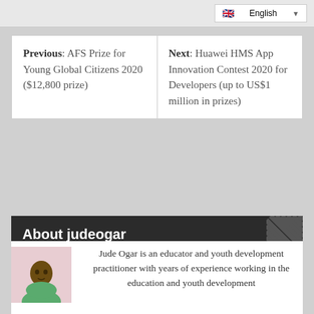English
| Previous | Next |
| --- | --- |
| Previous: AFS Prize for Young Global Citizens 2020 ($12,800 prize) | Next: Huawei HMS App Innovation Contest 2020 for Developers (up to US$1 million in prizes) |
About judeogar
[Figure (photo): Portrait photo of Jude Ogar, a young man wearing a green shirt]
Jude Ogar is an educator and youth development practitioner with years of experience working in the education and youth development